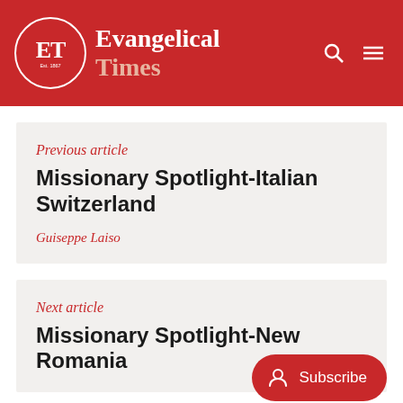Evangelical Times
Previous article
Missionary Spotlight-Italian Switzerland
Guiseppe Laiso
Next article
Missionary Spotlight-New Romania